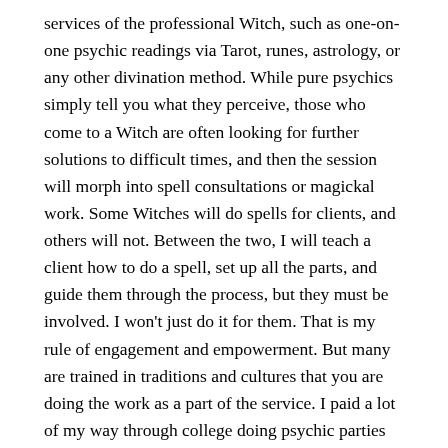services of the professional Witch, such as one-on-one psychic readings via Tarot, runes, astrology, or any other divination method. While pure psychics simply tell you what they perceive, those who come to a Witch are often looking for further solutions to difficult times, and then the session will morph into spell consultations or magickal work. Some Witches will do spells for clients, and others will not. Between the two, I will teach a client how to do a spell, set up all the parts, and guide them through the process, but they must be involved. I won't just do it for them. That is my rule of engagement and empowerment. But many are trained in traditions and cultures that you are doing the work as a part of the service. I paid a lot of my way through college doing psychic parties and spell consultations. While not a lavish lifestyle, it kept me going while pursuing both my magick and music.
Many professional Witches have training in healing modalities, new and old, including energy work, crystal healing, body work,